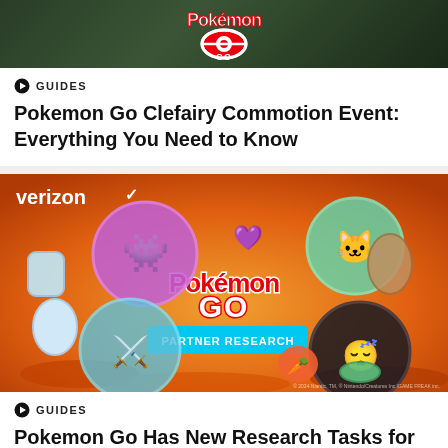[Figure (screenshot): Top of a card showing Pokemon Go logo on a dark forest background, partially cropped]
GUIDES
Pokemon Go Clefairy Commotion Event: Everything You Need to Know
[Figure (photo): Pokemon Go Partner Research promotional image with Verizon branding, featuring Gengar, Espurr, an egg, items, and other Pokemon on an autumn background]
GUIDES
Pokemon Go Has New Research Tasks for